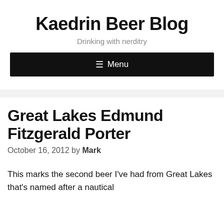Kaedrin Beer Blog
Drinking with nerditry
≡ Menu
Great Lakes Edmund Fitzgerald Porter
October 16, 2012 by Mark
This marks the second beer I've had from Great Lakes that's named after a nautical